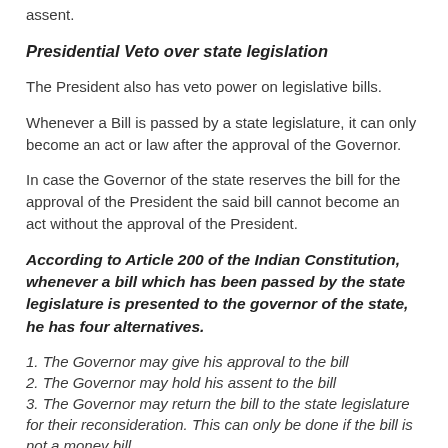assent.
Presidential Veto over state legislation
The President also has veto power on legislative bills.
Whenever a Bill is passed by a state legislature, it can only become an act or law after the approval of the Governor.
In case the Governor of the state reserves the bill for the approval of the President the said bill cannot become an act without the approval of the President.
According to Article 200 of the Indian Constitution, whenever a bill which has been passed by the state legislature is presented to the governor of the state, he has four alternatives.
1. The Governor may give his approval to the bill
2. The Governor may hold his assent to the bill
3. The Governor may return the bill to the state legislature for their reconsideration. This can only be done if the bill is not a money bill.